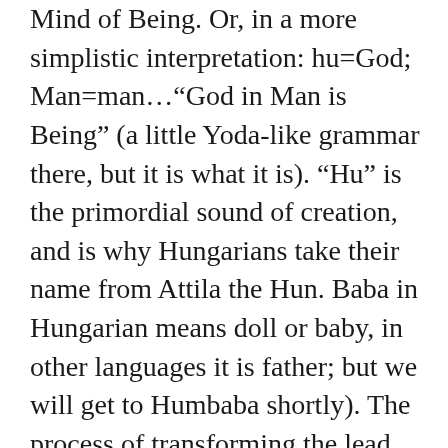Mind of Being. Or, in a more simplistic interpretation: hu=God; Man=man…“God in Man is Being” (a little Yoda-like grammar there, but it is what it is). “Hu” is the primordial sound of creation, and is why Hungarians take their name from Attila the Hun. Baba in Hungarian means doll or baby, in other languages it is father; but we will get to Humbaba shortly). The process of transforming the lead of ego (our mechanical lunar bodies) into the gold of the human soul (our solar bodies) requires the mystical metaphysical science of Alchemy as taught by Hermes